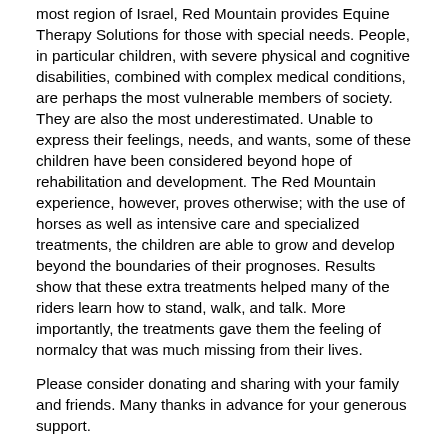most region of Israel, Red Mountain provides Equine Therapy Solutions for those with special needs. People, in particular children, with severe physical and cognitive disabilities, combined with complex medical conditions, are perhaps the most vulnerable members of society. They are also the most underestimated. Unable to express their feelings, needs, and wants, some of these children have been considered beyond hope of rehabilitation and development. The Red Mountain experience, however, proves otherwise; with the use of horses as well as intensive care and specialized treatments, the children are able to grow and develop beyond the boundaries of their prognoses. Results show that these extra treatments helped many of the riders learn how to stand, walk, and talk. More importantly, the treatments gave them the feeling of normalcy that was much missing from their lives.
Please consider donating and sharing with your family and friends. Many thanks in advance for your generous support.
Brian, Emet, Sam, Jack, Grace & Neli